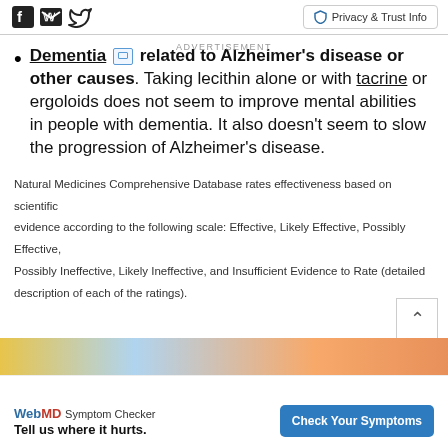Privacy & Trust Info
Dementia [image] related to Alzheimer's disease or other causes. Taking lecithin alone or with tacrine or ergoloids does not seem to improve mental abilities in people with dementia. It also doesn't seem to slow the progression of Alzheimer's disease.
Natural Medicines Comprehensive Database rates effectiveness based on scientific evidence according to the following scale: Effective, Likely Effective, Possibly Effective, Possibly Ineffective, Likely Ineffective, and Insufficient Evidence to Rate (detailed description of each of the ratings).
[Figure (photo): Colorful food/medicine image strip at bottom of page]
ADVERTISEMENT
WebMD Symptom Checker — Tell us where it hurts. Check Your Symptoms